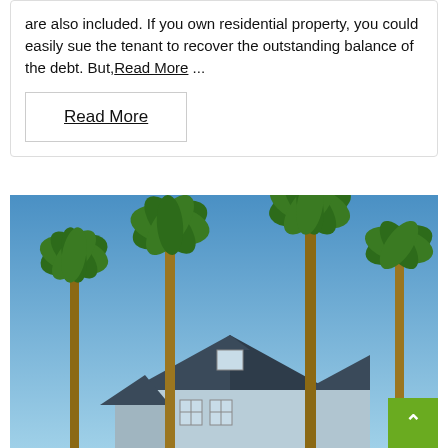are also included. If you own residential property, you could easily sue the tenant to recover the outstanding balance of the debt. But,Read More ...
Read More
[Figure (photo): Photo of palm trees and a residential house with a blue sky background. A green back-to-top button with a white upward arrow is visible in the bottom right corner.]